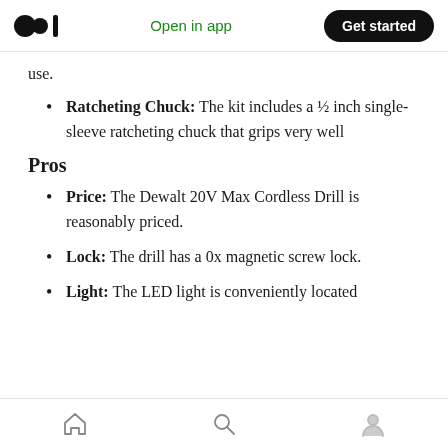Medium logo | Open in app | Get started
use.
Ratcheting Chuck: The kit includes a ½ inch single-sleeve ratcheting chuck that grips very well
Pros
Price: The Dewalt 20V Max Cordless Drill is reasonably priced.
Lock: The drill has a 0x magnetic screw lock.
Light: The LED light is conveniently located
Home | Search | Profile